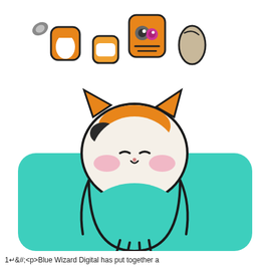[Figure (illustration): Illustration for the mobile game 'Neko Tsuri' (ねこ釣り / Cat Fishing). The image shows a cute cartoon calico cat with a round white face, pink blush cheeks, and small closed eyes/mouth, peeking up from a teal/turquoise fishing hole. The cat has orange and black patches on its head and small black paw lines visible at the bottom. Above the cat is the Japanese title text 'ねこ釣り' (Neko Tsuri) styled as chunky cartoon letters decorated to look like cats and cat-related shapes — orange, gray, tan, and pink. The background is white at the top and teal at the bottom.]
1↵&#;〈p〉Blue Wizard Digital has put together a